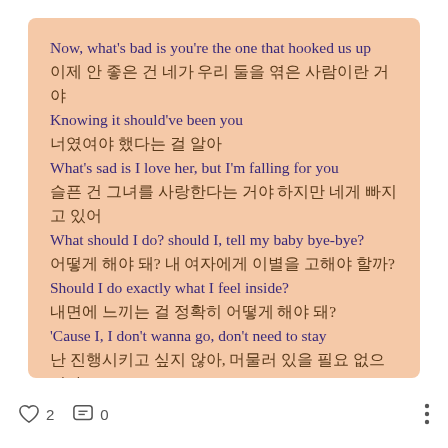Now, what's bad is you're the one that hooked us up
이제 안 좋은 건 네가 우리 둘을 엮은 사람이란 거야
Knowing it should've been you
너였여야 했다는 걸 알아
What's sad is I love her, but I'm falling for you
슬픈 건 그녀를 사랑한다는 거야 하지만 네게 빠지고 있어
What should I do? should I, tell my baby bye-bye?
어떻게 해야 돼? 내 여자에게 이별을 고해야 할까?
Should I do exactly what I feel inside?
내면에 느끼는 걸 정확히 어떻게 해야 돼?
'Cause I, I don't wanna go, don't need to stay
난 진행시키고 싶지 않아, 머물러 있을 필요 없으니까
But I really need to get it together
하지만 정말 함께 있어야 해
♡ 2   💬 0   ⋮